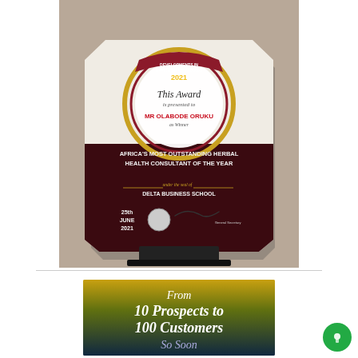[Figure (photo): Photo of a polygonal glass award plaque on a black stand. The plaque reads: 'Developments in Africa Merit Awards 2021', 'This Award is presented to', 'MR OLABODE ORUKU', 'as Winner', 'AFRICA'S MOST OUTSTANDING HERBAL HEALTH CONSULTANT OF THE YEAR', 'under the seal of DELTA BUSINESS SCHOOL', '25th June 2021' with a signature.]
[Figure (photo): Book or promotional banner cover with gradient background (gold to dark blue) and italic text reading: 'From 10 Prospects to 100 Customers So Soon']